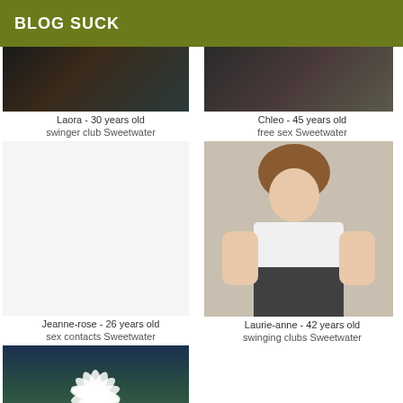BLOG SUCK
Laora - 30 years old
swinger club Sweetwater
Chleo - 45 years old
free sex Sweetwater
Jeanne-rose - 26 years old
sex contacts Sweetwater
Laurie-anne - 42 years old
swinging clubs Sweetwater
[Figure (photo): Partial photo top left - Laora]
[Figure (photo): Partial photo top right - Chleo]
[Figure (photo): Large photo right side - Laurie-anne, woman seated]
[Figure (photo): Bottom left photo - flower petals on dark background]